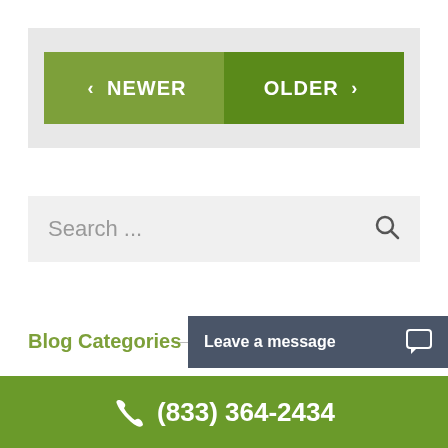[Figure (screenshot): Navigation pagination bar with NEWER and OLDER buttons on light grey background]
[Figure (screenshot): Search input bar with placeholder text 'Search ...' and magnifying glass icon]
Blog Categories
[Figure (screenshot): Dark grey 'Leave a message' chat button with chat bubble icon]
(833) 364-2434